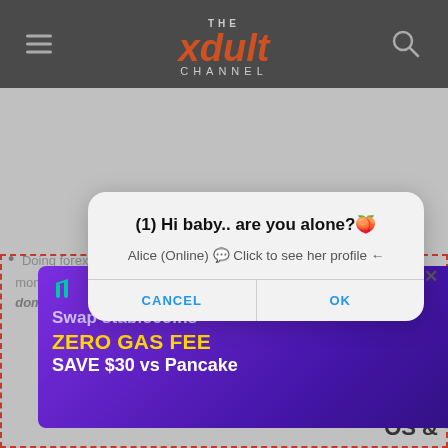[Figure (screenshot): Website header/navigation bar for 'The Xdult Channel' with hamburger menu icon on left, orange/red stylized logo text in center, and search icon on right, on dark gray background]
[Figure (screenshot): Browser dialog popup with bold text '(1) Hi baby.. are you alone?🍑' and subtitle 'Alice (Online) 💬 Click to see her profile ←', with CANCEL and OK buttons in blue]
Doing forex stocks, which I am currently dealing money. I don't do it to be financially dominant
favorite. Aything else.
OS &
[Figure (screenshot): Advertisement banner for Position Exchange with purple background showing 'Swap stablecoins', 'ZERO GAS FEE', 'SAVE $30 vs Pancake', and a green 'Swap now' button, surrounded by a red dashed border]